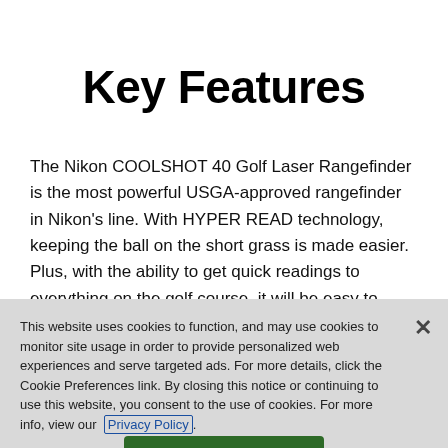Key Features
The Nikon COOLSHOT 40 Golf Laser Rangefinder is the most powerful USGA-approved rangefinder in Nikon's line. With HYPER READ technology, keeping the ball on the short grass is made easier. Plus, with the ability to get quick readings to everything on the golf course, it will be easy to
This website uses cookies to function, and may use cookies to monitor site usage in order to provide personalized web experiences and serve targeted ads. For more details, click the Cookie Preferences link. By closing this notice or continuing to use this website, you consent to the use of cookies. For more info, view our Privacy Policy